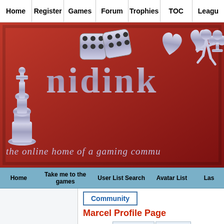Home | Register | Games | Forum | Trophies | TOC | Leagu...
[Figure (illustration): Nidink website banner with red background, chess piece, dice, card suits, runner figure, site title 'nidink' and subtitle 'the online home of a gaming commu...']
Home | Take me to the games | User List Search | Avatar List | Las...
Community
Marcel Profile Page
Portrait | Additional Info | User Status | Forum
Last 10 Forum Posts
| Date | Subject | Category |
| --- | --- | --- |